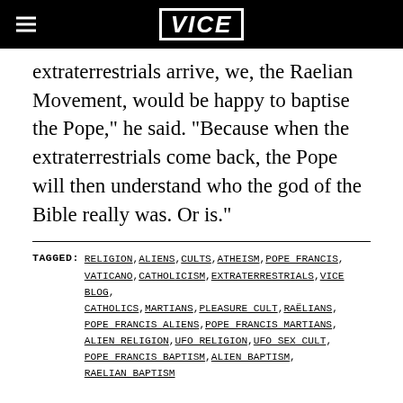VICE
extraterrestrials arrive, we, the Raelian Movement, would be happy to baptise the Pope,” he said. “Because when the extraterrestrials come back, the Pope will then understand who the god of the Bible really was. Or is.”
TAGGED: RELIGION, ALIENS, CULTS, ATHEISM, POPE FRANCIS, VATICANO, CATHOLICISM, EXTRATERRESTRIALS, VICE BLOG, CATHOLICS, MARTIANS, PLEASURE CULT, RAËLIANS, POPE FRANCIS ALIENS, POPE FRANCIS MARTIANS, ALIEN RELIGION, UFO RELIGION, UFO SEX CULT, POPE FRANCIS BAPTISM, ALIEN BAPTISM, RAELIAN BAPTISM